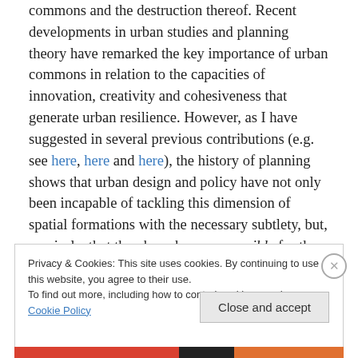commons and the destruction thereof. Recent developments in urban studies and planning theory have remarked the key importance of urban commons in relation to the capacities of innovation, creativity and cohesiveness that generate urban resilience. However, as I have suggested in several previous contributions (e.g. see here, here and here), the history of planning shows that urban design and policy have not only been incapable of tackling this dimension of spatial formations with the necessary subtlety, but, precisely, that they have been responsible for the destruction of diverse forms of urban
Privacy & Cookies: This site uses cookies. By continuing to use this website, you agree to their use. To find out more, including how to control cookies, see here: Cookie Policy
Close and accept